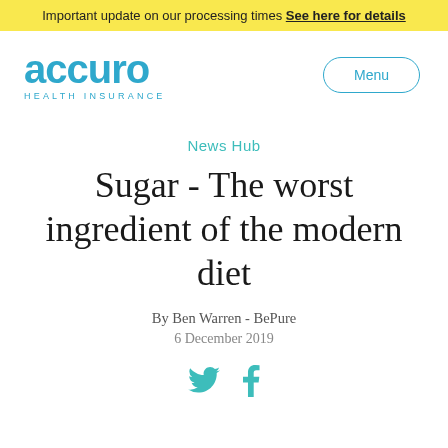Important update on our processing times See here for details
[Figure (logo): Accuro Health Insurance logo in teal/blue color]
Menu
News Hub
Sugar - The worst ingredient of the modern diet
By Ben Warren - BePure
6 December 2019
[Figure (infographic): Twitter and Facebook social sharing icons in teal]